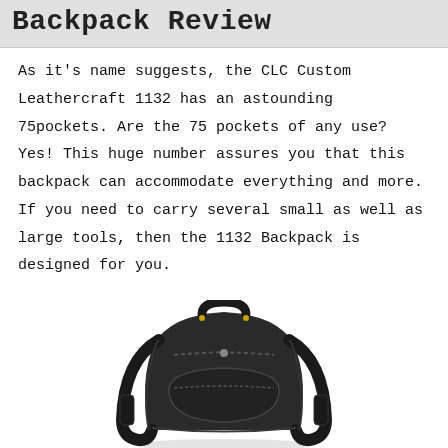Backpack Review
As it's name suggests, the CLC Custom Leathercraft 1132 has an astounding 75pockets. Are the 75 pockets of any use? Yes! This huge number assures you that this backpack can accommodate everything and more. If you need to carry several small as well as large tools, then the 1132 Backpack is designed for you.
[Figure (photo): Photo of the CLC Custom Leathercraft 1132 backpack, a dark/black tool backpack with multiple straps and compartments, viewed from a top-front angle.]